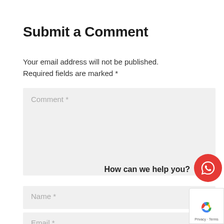Submit a Comment
Your email address will not be published. Required fields are marked *
[Figure (screenshot): Comment textarea form field with placeholder text 'Comment *' on light grey background]
[Figure (screenshot): Name input field with placeholder text 'Name *' on light grey background]
[Figure (screenshot): Email input field with placeholder text 'Email *' on light grey background]
How can we help you?
[Figure (other): Red circular WhatsApp chat button with white speech bubble icon]
[Figure (logo): reCAPTCHA badge showing Google reCAPTCHA logo with Privacy - Terms text]